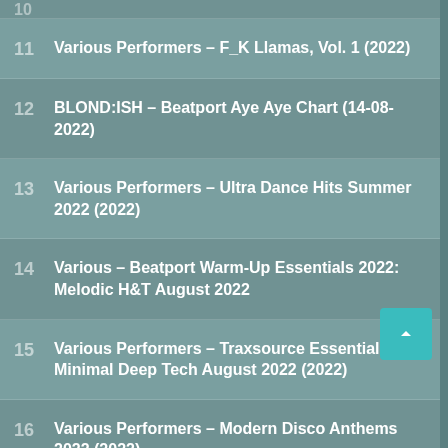11  Various Performers – F_K Llamas, Vol. 1 (2022)
12  BLOND:ISH – Beatport Aye Aye Chart (14-08-2022)
13  Various Performers – Ultra Dance Hits Summer 2022 (2022)
14  Various – Beatport Warm-Up Essentials 2022: Melodic H&T August 2022
15  Various Performers – Traxsource Essential Minimal Deep Tech August 2022 (2022)
16  Various Performers – Modern Disco Anthems 2022 (2022)